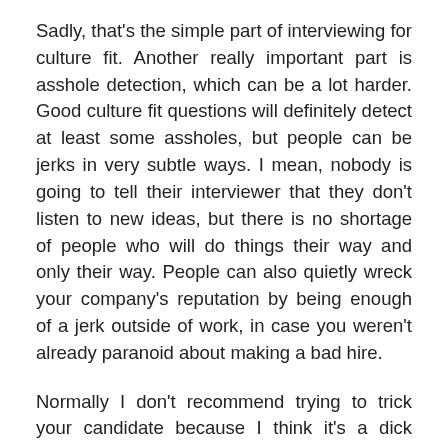Sadly, that's the simple part of interviewing for culture fit. Another really important part is asshole detection, which can be a lot harder. Good culture fit questions will definitely detect at least some assholes, but people can be jerks in very subtle ways. I mean, nobody is going to tell their interviewer that they don't listen to new ideas, but there is no shortage of people who will do things their way and only their way. People can also quietly wreck your company's reputation by being enough of a jerk outside of work, in case you weren't already paranoid about making a bad hire.
Normally I don't recommend trying to trick your candidate because I think it's a dick move, but I've heard it can be really useful to take a candidate out to lunch or for an after work drink and see how they behave outside of work. You would think people would stay on their best